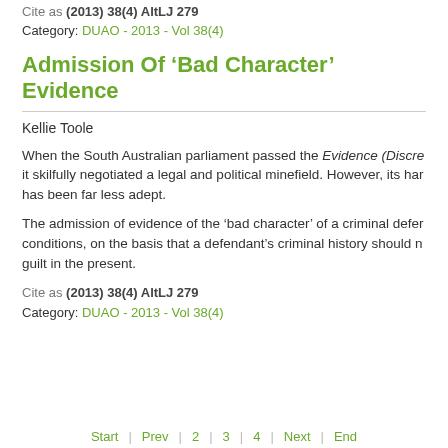Cite as (2013) 38(4) AltLJ 279
Category: DUAO - 2013 - Vol 38(4)
Admission Of ‘Bad Character’ Evidence
Kellie Toole
When the South Australian parliament passed the Evidence (Discre... it skilfully negotiated a legal and political minefield. However, its har... has been far less adept.
The admission of evidence of the ‘bad character’ of a criminal defer... conditions, on the basis that a defendant’s criminal history should n... guilt in the present.
Cite as (2013) 38(4) AltLJ 279
Category: DUAO - 2013 - Vol 38(4)
Start  Prev  2  3  4  Next  End